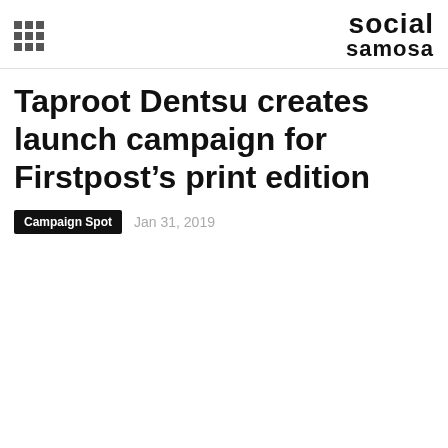social samosa
Taproot Dentsu creates launch campaign for Firstpost's print edition
Campaign Spot   Jan 31, 2019